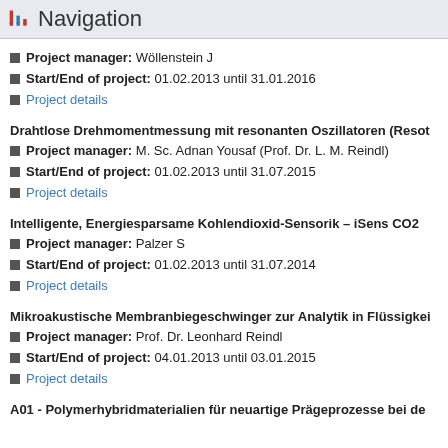Navigation
Project manager: Wöllenstein J
Start/End of project: 01.02.2013 until 31.01.2016
Project details
Drahtlose Drehmomentmessung mit resonanten Oszillatoren (Resot…
Project manager: M. Sc. Adnan Yousaf (Prof. Dr. L. M. Reindl)
Start/End of project: 01.02.2013 until 31.07.2015
Project details
Intelligente, Energiesparsame Kohlendioxid-Sensorik – iSens CO2
Project manager: Palzer S
Start/End of project: 01.02.2013 until 31.07.2014
Project details
Mikroakustische Membranbiegeschwinger zur Analytik in Flüssigkei…
Project manager: Prof. Dr. Leonhard Reindl
Start/End of project: 04.01.2013 until 03.01.2015
Project details
A01 - Polymerhybridmaterialien für neuartige Prägeprozesse bei de…